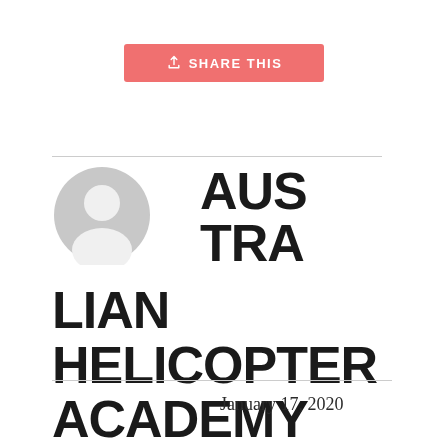[Figure (other): Share This button with upload icon, salmon/coral background, white text]
[Figure (other): Generic user avatar icon, gray circle with person silhouette]
AUSTRALIAN HELICOPTER ACADEMY
January 17, 2020